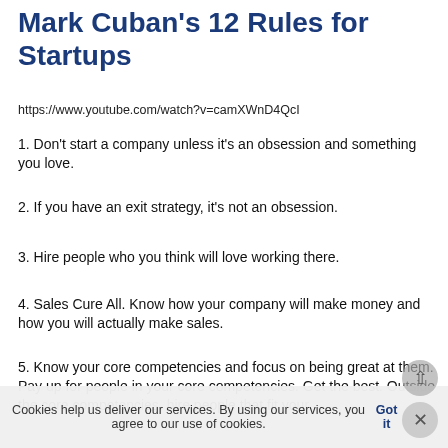Mark Cuban's 12 Rules for Startups
https://www.youtube.com/watch?v=camXWnD4QcI
1. Don't start a company unless it's an obsession and something you love.
2. If you have an exit strategy, it's not an obsession.
3. Hire people who you think will love working there.
4. Sales Cure All. Know how your company will make money and how you will actually make sales.
5. Know your core competencies and focus on being great at them. Pay up for people in your core competencies. Get the best. Outside the core competencies, hire people that fit your
Cookies help us deliver our services. By using our services, you agree to our use of cookies. Got it